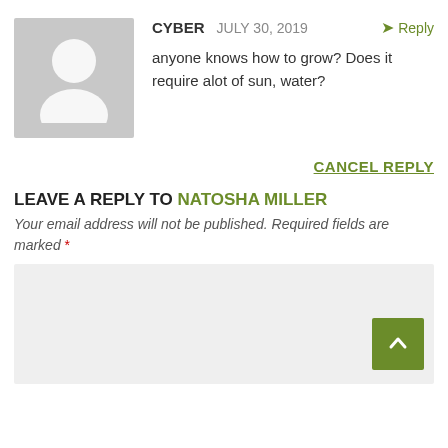[Figure (photo): Gray placeholder avatar/silhouette icon for user profile]
CYBER   JULY 30, 2019   Reply
anyone knows how to grow? Does it require alot of sun, water?
CANCEL REPLY
LEAVE A REPLY TO NATOSHA MILLER
Your email address will not be published. Required fields are marked *